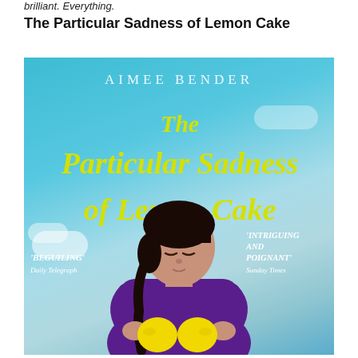brilliant. Everything.
The Particular Sadness of Lemon Cake
[Figure (photo): Book cover of 'The Particular Sadness of Lemon Cake' by Aimee Bender. Features a young girl with dark braids holding two lemons, set against a blue sky with clouds. The title is written in large yellow script lettering. Quotes read 'BEGUILING' - Daily Telegraph, and 'INTRIGUING AND POIGNANT' - Sunday Times.]